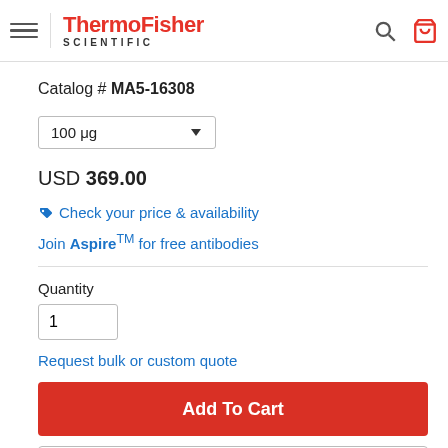ThermoFisher SCIENTIFIC
Catalog # MA5-16308
100 μg
USD 369.00
Check your price & availability
Join Aspire™ for free antibodies
Quantity
1
Request bulk or custom quote
Add To Cart